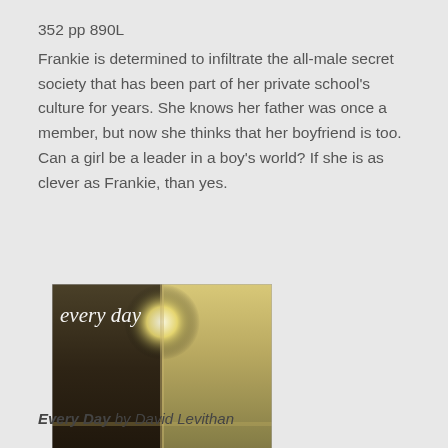352 pp 890L
Frankie is determined to infiltrate the all-male secret society that has been part of her private school's culture for years. She knows her father was once a member, but now she thinks that her boyfriend is too.  Can a girl be a leader in a boy's world? If she is as clever as Frankie, than yes.
[Figure (photo): Book cover of 'every day' by david levithan, showing a divided cover with dark and light panels depicting cloudy sky]
Every Day by David Levithan